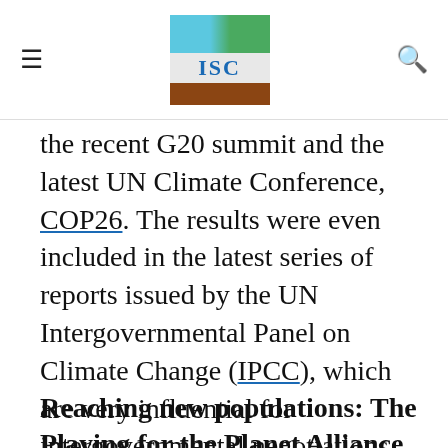≡  [logo]  🔍
the recent G20 summit and the latest UN Climate Conference, COP26. The results were even included in the latest series of reports issued by the UN Intergovernmental Panel on Climate Change (IPCC), which are very influential for intergovernmental negotiations.
Reaching new populations: The Playing for the Planet Alliance
We use our own and third-party cookies to enable and improve your browsing experience on our website. If you go on surfing, we will consider you accepting its use.
Mission 1.5's success is only the tip of the iceberg if we think about the reach of today's video gaming industry, which stretches beyond our smartphones onto the screens of over 3 billion people in the world...